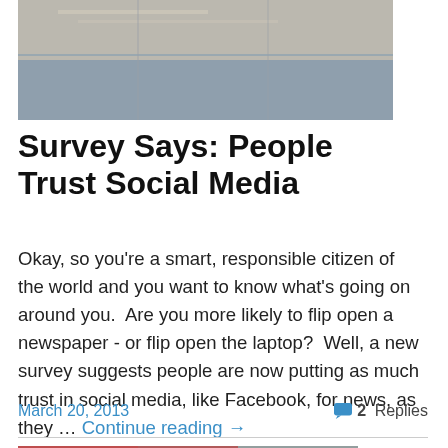[Figure (photo): Top portion of a photo showing papers or documents on a pavement/sidewalk surface]
Survey Says: People Trust Social Media
Okay, so you're a smart, responsible citizen of the world and you want to know what's going on around you. Are you more likely to flip open a newspaper - or flip open the laptop? Well, a new survey suggests people are now putting as much trust in social media, like Facebook, for news, as they … Continue reading →
March 20, 2013
2 Replies
[Figure (photo): Bottom portion of a photo showing people, partially visible at bottom of page]